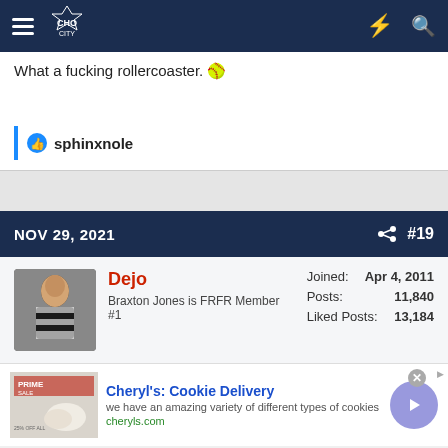CHO CITY - navigation bar
What a fucking rollercoaster. 🥎
sphinxnole
NOV 29, 2021  #19
Dejo
Braxton Jones is FRFR Member #1
Joined: Apr 4, 2011
Posts: 11,840
Liked Posts: 13,184
Cheryl's: Cookie Delivery
we have an amazing variety of different types of cookies
cheryls.com